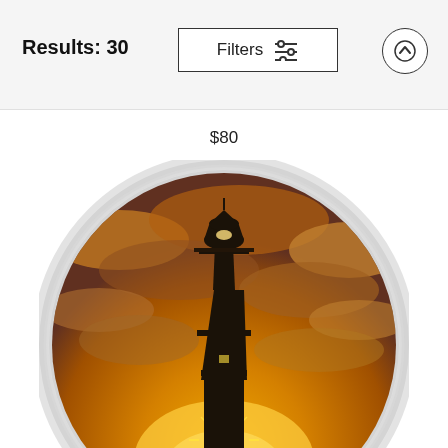Results: 30
Filters
$80
[Figure (photo): Round beach towel product photo showing a lighthouse silhouette against a golden sunset sky with dramatic clouds, displayed as a circular item with white fringe border]